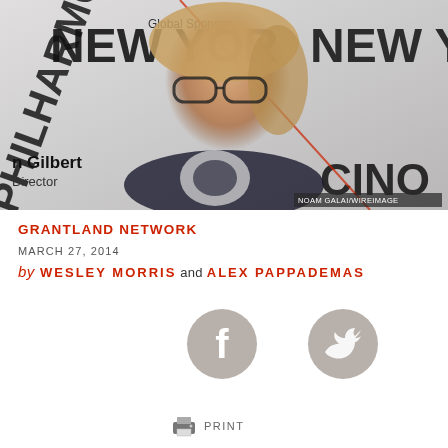[Figure (photo): Photo of a woman with glasses and blonde hair at a New York Philharmonic event with a step-and-repeat banner. Photo credit: NOAM GALAI/WIREIMAGE]
GRANTLAND NETWORK
MARCH 27, 2014
by WESLEY MORRIS and ALEX PAPPADEMAS
[Figure (infographic): Facebook share icon (grey circle with white F)]
[Figure (infographic): Twitter share icon (grey circle with white bird)]
[Figure (infographic): Print icon with PRINT label]